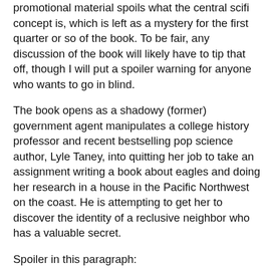promotional material spoils what the central scifi concept is, which is left as a mystery for the first quarter or so of the book. To be fair, any discussion of the book will likely have to tip that off, though I will put a spoiler warning for anyone who wants to go in blind.
The book opens as a shadowy (former) government agent manipulates a college history professor and recent bestselling pop science author, Lyle Taney, into quitting her job to take an assignment writing a book about eagles and doing her research in a house in the Pacific Northwest on the coast. He is attempting to get her to discover the identity of a reclusive neighbor who has a valuable secret.
Spoiler in this paragraph:
Lyle gets drawn into the lives of the neighbors, who turn out to have discovered a way to perpetual health and long life, the secret the former agent is after. At this point the book becomes a cold war thriller of sorts as Soviet scientist have made a similar discovery and the heretofore independent group is faced with a choice of distributing the inoculation in the West as well so as to avert nuclear war under the